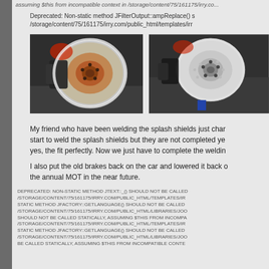assuming $this from incompatible context in /storage/content/75/161175/irry.co...
Deprecated: Non-static method JFilterOutput::ampReplace() s /storage/content/75/161175/irry.com/public_html/templates/irr
[Figure (photo): Two photos of car brake discs/rotors. Left photo shows an old rusty brake disc with caliper. Right photo shows a new clean brake disc with caliper.]
My friend who have been welding the splash shields just char start to weld the splash shields but they are not completed ye yes, the fit perfectly. Now we just have to complete the weldin
I also put the old brakes back on the car and lowered it back o the annual MOT in the near future.
DEPRECATED: NON-STATIC METHOD JTEXT::_() SHOULD NOT BE CALLED /STORAGE/CONTENT/75/161175/IRRY.COM/PUBLIC_HTML/TEMPLATES/IR STATIC METHOD JFACTORY::GETLANGUAGE() SHOULD NOT BE CALLED /STORAGE/CONTENT/75/161175/IRRY.COM/PUBLIC_HTML/LIBRARIES/JOO SHOULD NOT BE CALLED STATICALLY, ASSUMING $THIS FROM INCOMPA /STORAGE/CONTENT/75/161175/IRRY.COM/PUBLIC_HTML/TEMPLATES/IR STATIC METHOD JFACTORY::GETLANGUAGE() SHOULD NOT BE CALLED /STORAGE/CONTENT/75/161175/IRRY.COM/PUBLIC_HTML/LIBRARIES/JOO BE CALLED STATICALLY, ASSUMING $THIS FROM INCOMPATIBLE CONTE